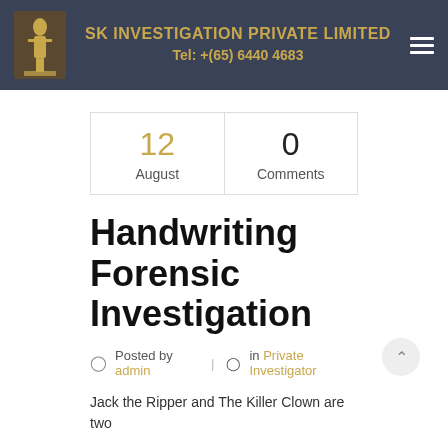SK INVESTIGATION PRIVATE LIMITED
Tel: +(65) 6440 4683
| 12
August | 0
Comments |
Handwriting Forensic Investigation
Posted by admin | in Private Investigator
Jack the Ripper and The Killer Clown are two